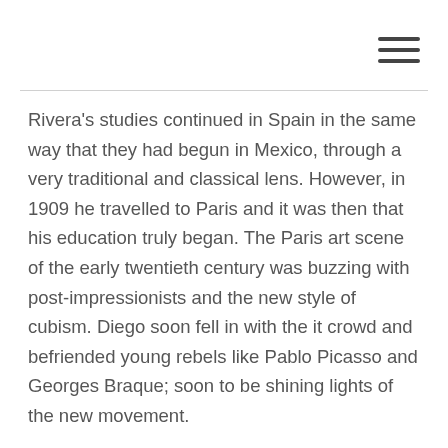[hamburger menu icon]
Rivera's studies continued in Spain in the same way that they had begun in Mexico, through a very traditional and classical lens. However, in 1909 he travelled to Paris and it was then that his education truly began. The Paris art scene of the early twentieth century was buzzing with post-impressionists and the new style of cubism. Diego soon fell in with the it crowd and befriended young rebels like Pablo Picasso and Georges Braque; soon to be shining lights of the new movement.